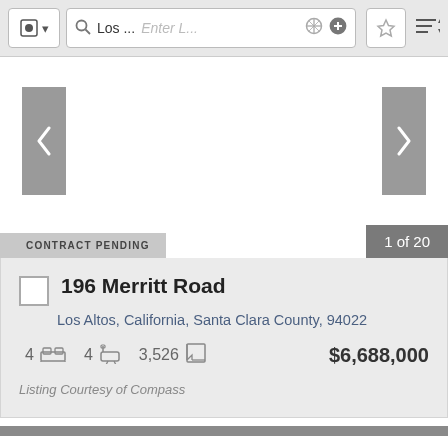[Figure (screenshot): Mobile app toolbar with search field showing 'Los ...' and 'Enter L...' placeholder, location icon, add button, star/favorites button, and sort button]
[Figure (screenshot): Property image carousel area with left and right gray navigation arrow buttons]
CONTRACT PENDING
1 of 20
196 Merritt Road
Los Altos, California, Santa Clara County, 94022
4  [bed icon]  4  [bath icon]  3,526  [sqft icon]  $6,688,000
Listing Courtesy of Compass